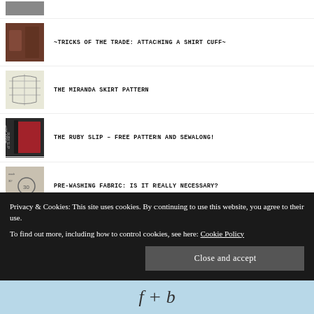[Figure (photo): Partial thumbnail at top, cropped]
~TRICKS OF THE TRADE: ATTACHING A SHIRT CUFF~
THE MIRANDA SKIRT PATTERN
THE RUBY SLIP – FREE PATTERN AND SEWALONG!
PRE-WASHING FABRIC: IS IT REALLY NECESSARY?
THE RUBY SLIP #5 – SEWING THE BIAS SKIRT
Privacy & Cookies: This site uses cookies. By continuing to use this website, you agree to their use.
To find out more, including how to control cookies, see here: Cookie Policy
Close and accept
[Figure (logo): f + b logo text on light blue background at bottom]